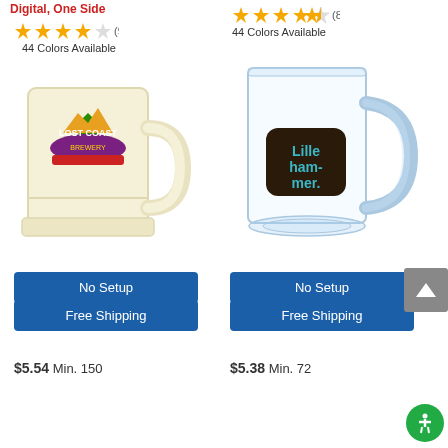Digital, One Side
[Figure (illustration): Star rating: 4 out of 5 stars with (9) reviews, left product]
44 Colors Available
[Figure (photo): Cream/white plastic beer mug with Lost Coast Brewery colorful logo printed on the side]
[Figure (illustration): Star rating: 4 out of 5 stars with (8) reviews, right product]
44 Colors Available
[Figure (photo): Clear glass beer mug with Lillehammer logo printed in dark and teal colors on the side]
No Setup
Free Shipping
No Setup
Free Shipping
$5.54 Min. 150
$5.38 Min. 72